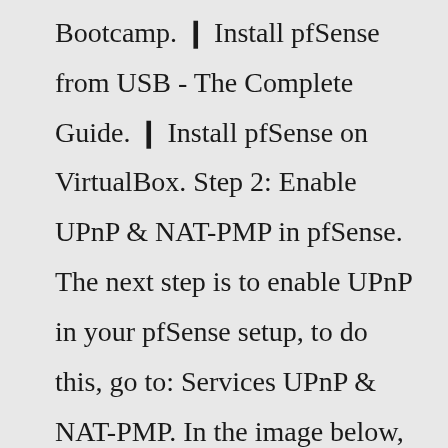Bootcamp. ❙ Install pfSense from USB - The Complete Guide. ❙ Install pfSense on VirtualBox. Step 2: Enable UPnP & NAT-PMP in pfSense. The next step is to enable UPnP in your pfSense setup, to do this, go to: Services UPnP & NAT-PMP. In the image below, we did the following settings: Check " Enable UPnP & NAT-PMP ", Check " Allow UPnP Port Mapping ", Check " Allow NAT-PMP Port Mapping ", Select your WAN at the " External Interface...